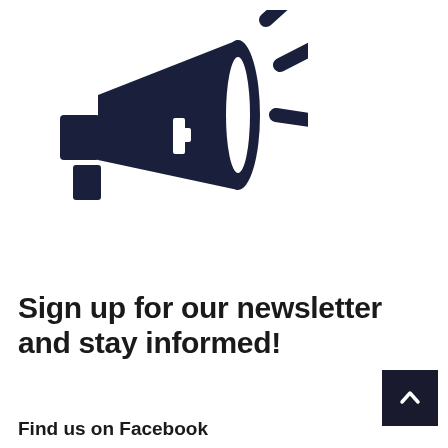[Figure (illustration): Dark navy megaphone/bullhorn icon with sound lines radiating from the right side, pointing left]
Sign up for our newsletter and stay informed!
Find us on Facebook